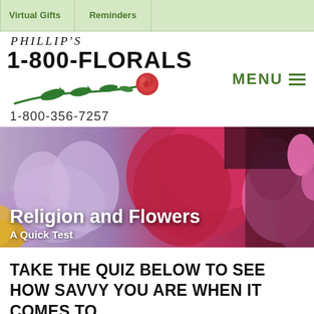Virtual Gifts  Reminders
[Figure (logo): Phillip's 1-800-FLORALS logo with a rose stem graphic and phone number 1-800-356-7257]
[Figure (photo): Close-up photo of colorful flowers including purple, red, and pink blooms serving as hero banner background]
Religion and Flowers
A Quick Test
TAKE THE QUIZ BELOW TO SEE HOW SAVVY YOU ARE WHEN IT COMES TO